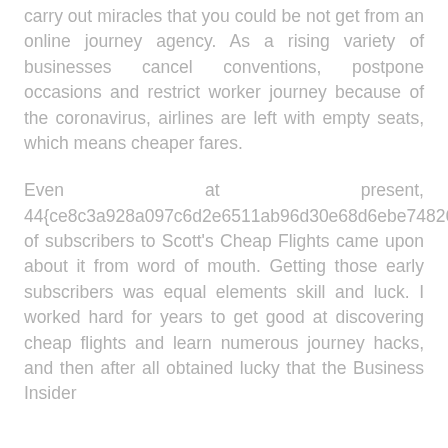carry out miracles that you could be not get from an online journey agency. As a rising variety of businesses cancel conventions, postpone occasions and restrict worker journey because of the coronavirus, airlines are left with empty seats, which means cheaper fares.
Even at present, 44{ce8c3a928a097c6d2e6511ab96d30e68d6ebe74826582246b908404c8fc1d808} of subscribers to Scott's Cheap Flights came upon about it from word of mouth. Getting those early subscribers was equal elements skill and luck. I worked hard for years to get good at discovering cheap flights and learn numerous journey hacks, and then after all obtained lucky that the Business Insider